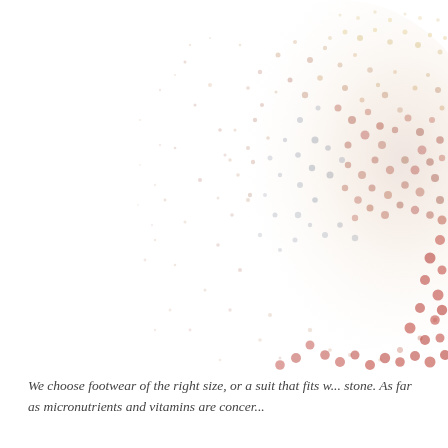[Figure (continuous-plot): A dense scatter cloud of small dots in shades of salmon, rose, tan, gold, and muted blue-grey, concentrated in the upper-right region of a white background, thinning out toward the left and lower portions. The dots vary in size and color, forming an organic cloud-like mass suggesting a data visualization or particle distribution.]
We choose footwear of the right size, or a suit that fits w... stone. As far as micronutrients and vitamins are concer...